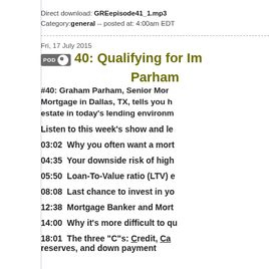Direct download: GREepisode41_1.mp3
Category: general -- posted at: 4:00am EDT
40: Qualifying for Im... Parham
#40: Graham Parham, Senior Mor... Mortgage in Dallas, TX, tells you h... estate in today's lending environm...
Listen to this week's show and le...
03:02  Why you often want a mort...
04:35  Your downside risk of high...
05:50  Loan-To-Value ratio (LTV) e...
08:08  Last chance to invest in yo...
12:38  Mortgage Banker and Mort...
14:00  Why it's more difficult to qu...
18:01  The three “C”s: Credit, Ca... reserves, and down payment...